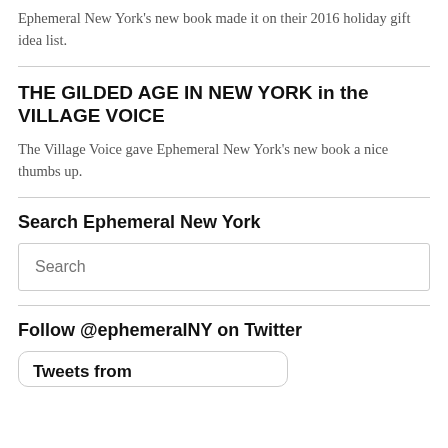Ephemeral New York's new book made it on their 2016 holiday gift idea list.
THE GILDED AGE IN NEW YORK in the VILLAGE VOICE
The Village Voice gave Ephemeral New York's new book a nice thumbs up.
Search Ephemeral New York
Search
Follow @ephemeralNY on Twitter
Tweets from